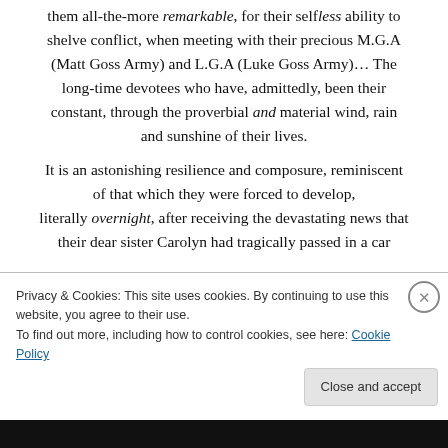them all-the-more remarkable, for their selfless ability to shelve conflict, when meeting with their precious M.G.A (Matt Goss Army) and L.G.A (Luke Goss Army)… The long-time devotees who have, admittedly, been their constant, through the proverbial and material wind, rain and sunshine of their lives.
It is an astonishing resilience and composure, reminiscent of that which they were forced to develop, literally overnight, after receiving the devastating news that their dear sister Carolyn had tragically passed in a car
Privacy & Cookies: This site uses cookies. By continuing to use this website, you agree to their use.
To find out more, including how to control cookies, see here: Cookie Policy